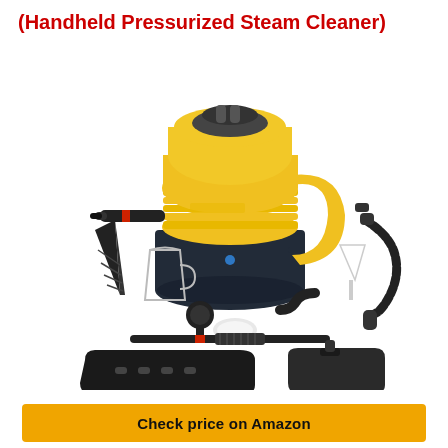(Handheld Pressurized Steam Cleaner)
[Figure (photo): Product photo of a yellow and black handheld pressurized steam cleaner (Comforday brand) shown with multiple accessories including a cone nozzle, measuring cup, funnel, hose, fabric brush, angled nozzle, and two flat cleaning attachments, all arranged on a white background.]
Check price on Amazon